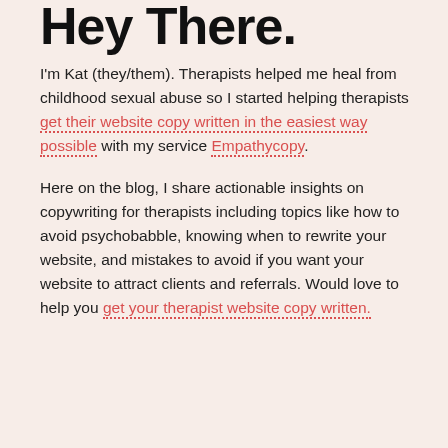Hey There.
I'm Kat (they/them). Therapists helped me heal from childhood sexual abuse so I started helping therapists get their website copy written in the easiest way possible with my service Empathycopy.
Here on the blog, I share actionable insights on copywriting for therapists including topics like how to avoid psychobabble, knowing when to rewrite your website, and mistakes to avoid if you want your website to attract clients and referrals. Would love to help you get your therapist website copy written.